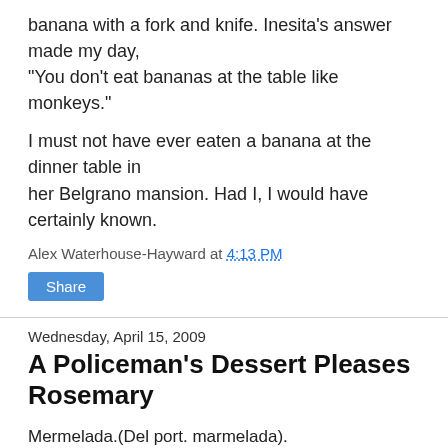banana with a fork and knife. Inesita's answer made my day, "You don't eat bananas at the table like monkeys."
I must not have ever eaten a banana at the dinner table in her Belgrano mansion. Had I, I would have certainly known.
Alex Waterhouse-Hayward at 4:13 PM
Share
Wednesday, April 15, 2009
A Policeman's Dessert Pleases Rosemary
Mermelada.(Del port. marmelada).
1. f. Conserva de membrillos o de otras frutas, con miel o azúcar.
Membrillo. (Del lat. melimēlum, manzana dulce, y este del gr. μελίμηλον).
Ate.